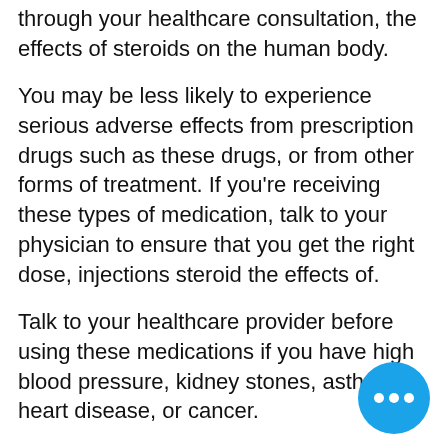through your healthcare consultation, the effects of steroids on the human body.
You may be less likely to experience serious adverse effects from prescription drugs such as these drugs, or from other forms of treatment. If you're receiving these types of medication, talk to your physician to ensure that you get the right dose, injections steroid the effects of.
Talk to your healthcare provider before using these medications if you have high blood pressure, kidney stones, asthma, heart disease, or cancer.
What can I do to reduce the possibility of adverse reactions?
You can reduce the chance of side effects steroids by following these guidelines: